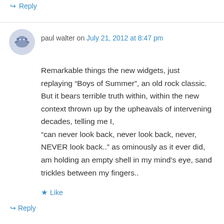↪ Reply
paul walter on July 21, 2012 at 8:47 pm
Remarkable things the new widgets, just replaying “Boys of Summer”, an old rock classic. But it bears terrible truth within, within the new context thrown up by the upheavals of intervening decades, telling me I, “can never look back, never look back, never, NEVER look back..” as ominously as it ever did, am holding an empty shell in my mind’s eye, sand trickles between my fingers..
★ Like
↪ Reply